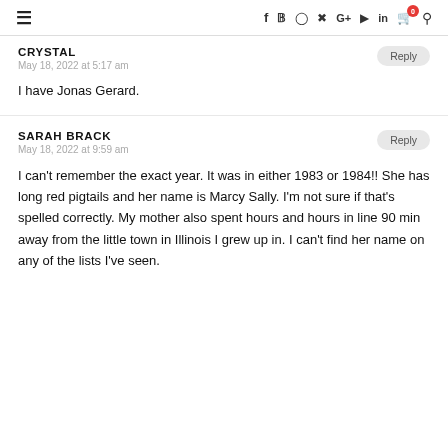≡  f  Twitter  Instagram  Pinterest  G+  YouTube  in  🛒0  🔍
CRYSTAL
May 18, 2022 at 5:17 am
I have Jonas Gerard.
SARAH BRACK
May 18, 2022 at 9:59 am
I can't remember the exact year. It was in either 1983 or 1984!! She has long red pigtails and her name is Marcy Sally. I'm not sure if that's spelled correctly. My mother also spent hours and hours in line 90 min away from the little town in Illinois I grew up in. I can't find her name on any of the lists I've seen.